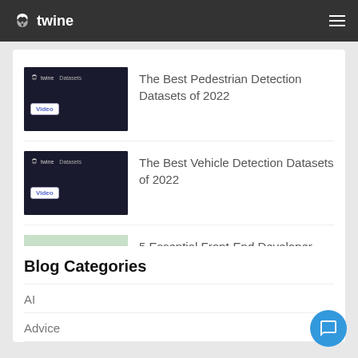twine
The Best Pedestrian Detection Datasets of 2022
The Best Vehicle Detection Datasets of 2022
5 Essential Front-End Developer Skills
Blog Categories
AI
Advice